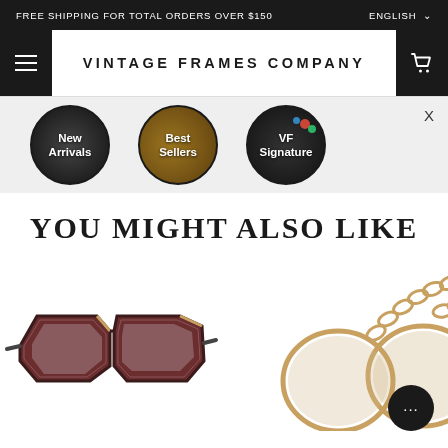FREE SHIPPING FOR TOTAL ORDERS OVER $150
VINTAGE FRAMES COMPANY
[Figure (infographic): Three circular navigation buttons: New Arrivals, Best Sellers, VF Signature — each with a dark background photo and white text label]
YOU MIGHT ALSO LIKE
[Figure (photo): Dark tortoiseshell angular oversized eyeglasses frames with gold accent hardware, on white background]
[Figure (photo): Gold chain-link round sunglasses with light yellow-pink tinted lenses, partially visible on right side]